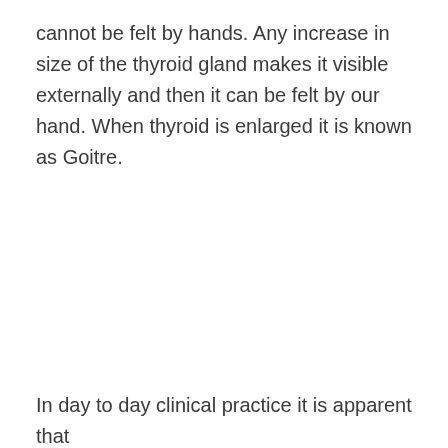cannot be felt by hands. Any increase in size of the thyroid gland makes it visible externally and then it can be felt by our hand. When thyroid is enlarged it is known as Goitre.
In day to day clinical practice it is apparent that